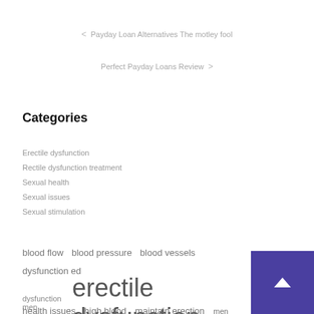< Payday Loan Alternatives The motley fool
Perfect Payday Loans Review >
Categories
Erectile dysfunction
Rectile dysfunction treatment
Sexual health
Sexual issues
Sexual stimulation
blood flow  blood pressure  blood vessels  dysfunction ed  dysfunction men  erectile dysfunction  health issues  high blood  maintain erection  men sexual  sex life